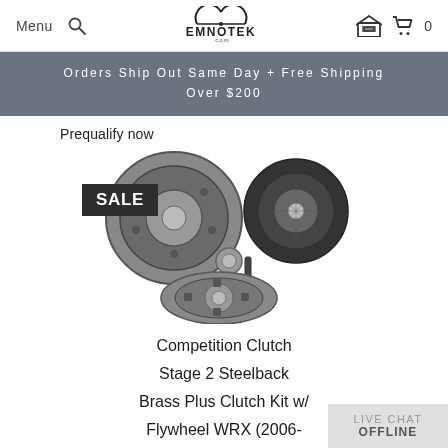Menu | [search icon] | EMNOTEK | [garage icon] | 0
Orders Ship Out Same Day + Free Shipping Over $200
Prequalify now
[Figure (photo): Competition Clutch Stage 2 Steelback Brass Plus Clutch Kit with Flywheel components: flywheel disc, pressure plate, pilot bearing, alignment tool, and clutch disc shown on white background with SALE badge overlay]
Competition Clutch Stage 2 Steelback Brass Plus Clutch Kit w/ Flywheel WRX (2006-2014)
LIVE CHAT OFFLINE